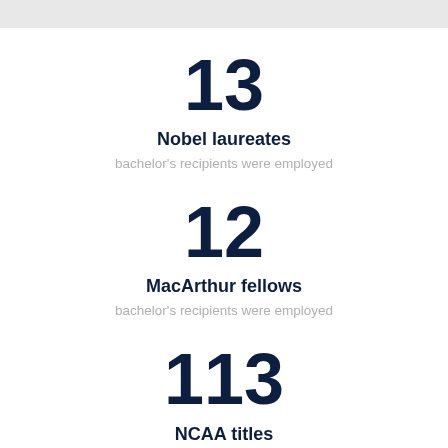13
Nobel laureates
bachelor's recipients were employed
12
MacArthur fellows
bachelor's recipients were employed
113
NCAA titles
bachelor's recipients were employed